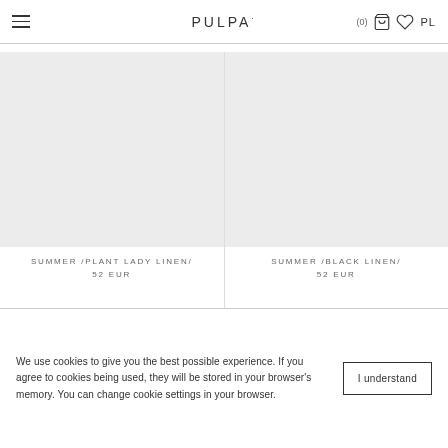PULPA — (0) PL
[Figure (photo): Product image placeholder for SUMMER/PLANT LADY LINEN/]
SUMMER /PLANT LADY LINEN/
52 EUR
[Figure (photo): Product image placeholder for SUMMER/BLACK LINEN/]
SUMMER /BLACK LINEN/
52 EUR
We use cookies to give you the best possible experience. If you agree to cookies being used, they will be stored in your browser's memory. You can change cookie settings in your browser.
I understand